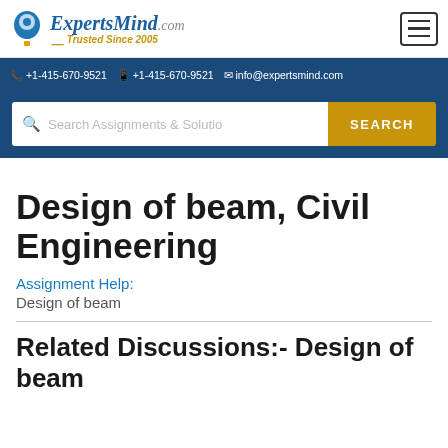ExpertsMind.com Trusted Since 2005 | +1-415-670-9521 | +1-415-670-9521 | info@expertsmind.com
Design of beam, Civil Engineering
Assignment Help:
Design of beam
Related Discussions:- Design of beam